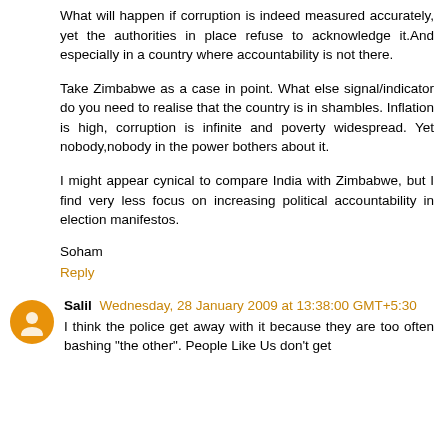What will happen if corruption is indeed measured accurately, yet the authorities in place refuse to acknowledge it.And especially in a country where accountability is not there.
Take Zimbabwe as a case in point. What else signal/indicator do you need to realise that the country is in shambles. Inflation is high, corruption is infinite and poverty widespread. Yet nobody,nobody in the power bothers about it.
I might appear cynical to compare India with Zimbabwe, but I find very less focus on increasing political accountability in election manifestos.
Soham
Reply
Salil Wednesday, 28 January 2009 at 13:38:00 GMT+5:30
I think the police get away with it because they are too often bashing "the other". People Like Us don't get